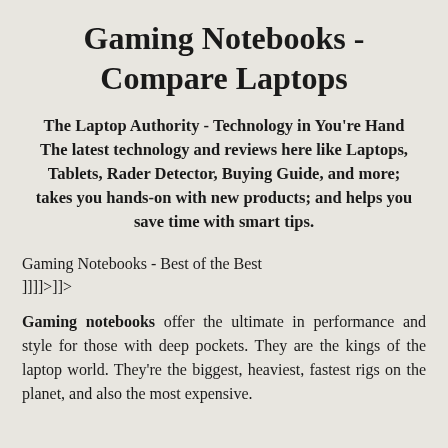Gaming Notebooks - Compare Laptops
The Laptop Authority - Technology in You're Hand The latest technology and reviews here like Laptops, Tablets, Rader Detector, Buying Guide, and more; takes you hands-on with new products; and helps you save time with smart tips.
Gaming Notebooks - Best of the Best
]]]]>]]>
Gaming notebooks offer the ultimate in performance and style for those with deep pockets. They are the kings of the laptop world. They're the biggest, heaviest, fastest rigs on the planet, and also the most expensive.